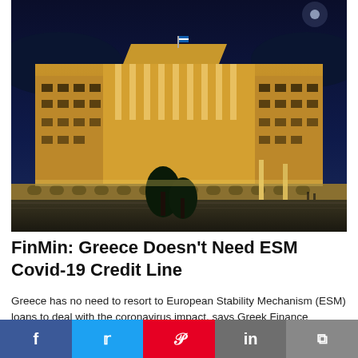[Figure (photo): Nighttime photograph of the Hellenic Parliament building in Athens, illuminated with warm golden light, with dark blue night sky background and trees in the foreground.]
FinMin: Greece Doesn't Need ESM Covid-19 Credit Line
Greece has no need to resort to European Stability Mechanism (ESM) loans to deal with the coronavirus impact, says Greek Finance Minister Christos Staikouras.
Posted On 05 Jun 2020, By GTR editing team